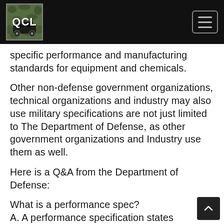QCL [logo with hamburger menu]
specific performance and manufacturing standards for equipment and chemicals.
Other non-defense government organizations, technical organizations and industry may also use military specifications are not just limited to The Department of Defense, as other government organizations and Industry use them as well.
Here is a Q&A from the Department of Defense:
What is a performance spec?
A. A performance specification states